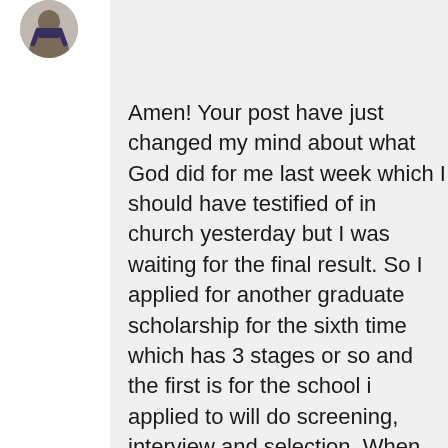[Figure (photo): Circular profile photo avatar of a person in formal attire, partially visible at top left]
Amen! Your post have just changed my mind about what God did for me last week which I should have testified of in church yesterday but I was waiting for the final result. So I applied for another graduate scholarship for the sixth time which has 3 stages or so and the first is for the school i applied to will do screening, interview and selection. When the day for the